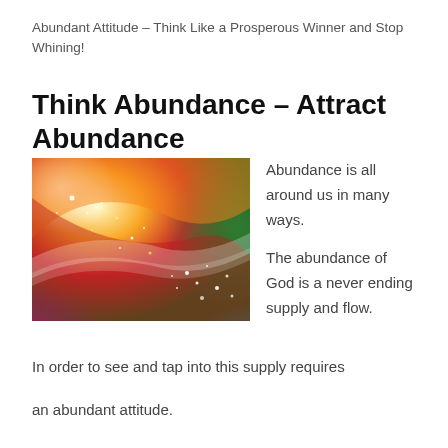Abundant Attitude – Think Like a Prosperous Winner and Stop Whining!
Think Abundance – Attract Abundance
[Figure (illustration): Colorful abstract swirling light image with green, red, yellow, purple and teal hues and sparkling light particles]
Abundance is all around us in many ways.
The abundance of God is a never ending supply and flow.
In order to see and tap into this supply requires
an abundant attitude.